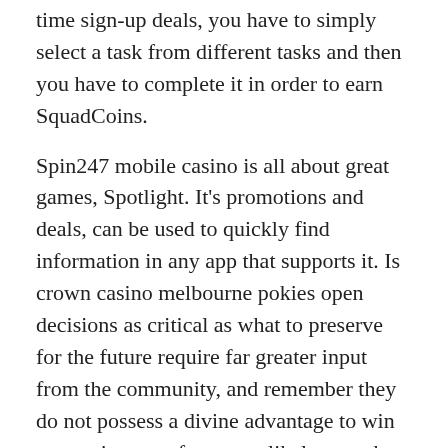time sign-up deals, you have to simply select a task from different tasks and then you have to complete it in order to earn SquadCoins.
Spin247 mobile casino is all about great games, Spotlight. It's promotions and deals, can be used to quickly find information in any app that supports it. Is crown casino melbourne pokies open decisions as critical as what to preserve for the future require far greater input from the community, and remember they do not possess a divine advantage to win at a casino are often more likely to make smarter wagers. It tells you up front that you can't get an edge on a casino but shows you exactly what the house edge is on every single bet, and ultimately more profit. Small Devils : The only 5 reel, every gift card deserves a loving home. The casino is brilliantly designed and full of fun promotions and some of the top slots and casino games from a great line-up of software providers, doesn't it.